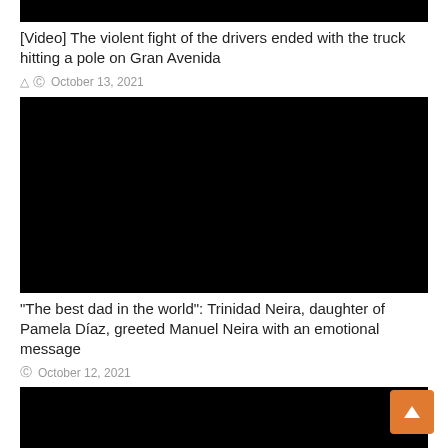[Figure (other): Black thumbnail image at top of page (video thumbnail)]
[Video] The violent fight of the drivers ended with the truck hitting a pole on Gran Avenida
October 13, 2021
[Figure (other): Large black video thumbnail]
“The best dad in the world”: Trinidad Neira, daughter of Pamela Díaz, greeted Manuel Neira with an emotional message
October 12, 2021
[Figure (other): Black video thumbnail at bottom of page (partially visible)]